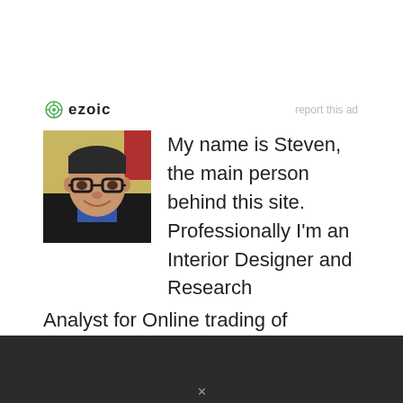[Figure (logo): Ezoic logo with circular icon and text 'ezoic', alongside 'report this ad' link]
[Figure (photo): Author photo: man with short hair, glasses, smiling, wearing dark jacket over blue shirt]
My name is Steven, the main person behind this site. Professionally I'm an Interior Designer and Research Analyst for Online trading of Furniture. But in my personal life, I'm a passionate blogger and enjoy writing, cycling, and traveling.